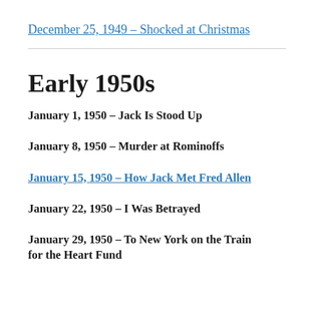December 25, 1949 – Shocked at Christmas
Early 1950s
January 1, 1950 – Jack Is Stood Up
January 8, 1950 – Murder at Rominoffs
January 15, 1950 – How Jack Met Fred Allen
January 22, 1950 – I Was Betrayed
January 29, 1950 – To New York on the Train for the Heart Fund